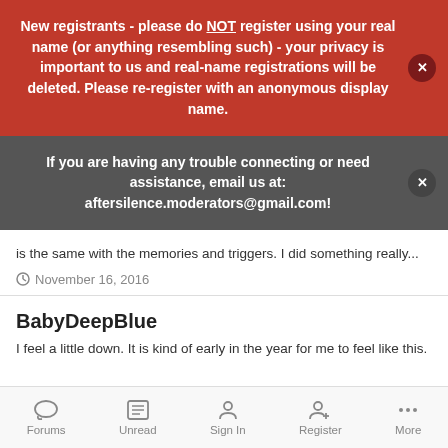New registrants - please do NOT register using your real name (or anything resembling such) - your privacy is important to us and real-name registrations will be deleted. Please re-register with an anonymous display name.
If you are having any trouble connecting or need assistance, email us at: aftersilence.moderators@gmail.com!
is the same with the memories and triggers. I did something really...
November 16, 2016
BabyDeepBlue
I feel a little down.  It is kind of early in the year for me to feel like this.
Forums  Unread  Sign In  Register  More